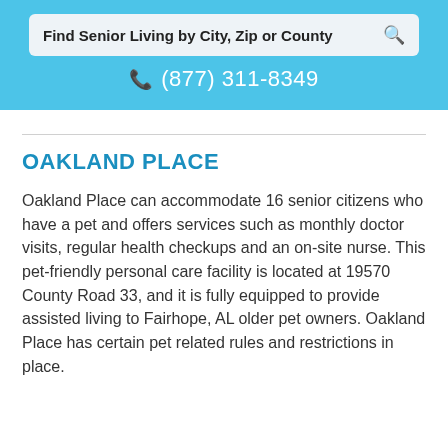Find Senior Living by City, Zip or County
(877) 311-8349
OAKLAND PLACE
Oakland Place can accommodate 16 senior citizens who have a pet and offers services such as monthly doctor visits, regular health checkups and an on-site nurse. This pet-friendly personal care facility is located at 19570 County Road 33, and it is fully equipped to provide assisted living to Fairhope, AL older pet owners. Oakland Place has certain pet related rules and restrictions in place.